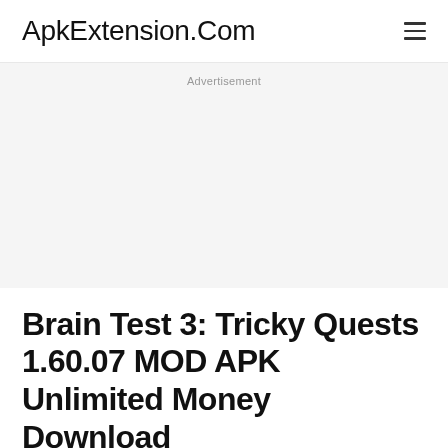ApkExtension.Com
Advertisement
Brain Test 3: Tricky Quests 1.60.07 MOD APK Unlimited Money Download